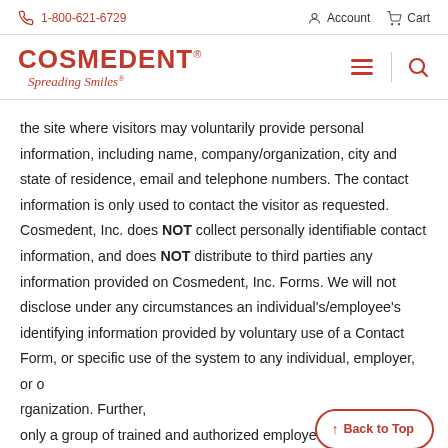1-800-621-6729   Account   Cart
COSMEDENT® Spreading Smiles®
the site where visitors may voluntarily provide personal information, including name, company/organization, city and state of residence, email and telephone numbers. The contact information is only used to contact the visitor as requested. Cosmedent, Inc. does NOT collect personally identifiable contact information, and does NOT distribute to third parties any information provided on Cosmedent, Inc. Forms. We will not disclose under any circumstances an individual's/employee's identifying information provided by voluntary use of a Contact Form, or specific use of the system to any individual, employer, or organization. Further, only a group of trained and authorized employees has access to information you volunteer via a Contact Form